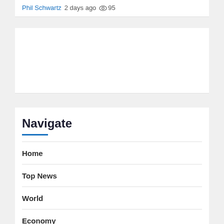Phil Schwartz  2 days ago  👁 95
[Figure (other): Advertisement / blank white card area]
Navigate
Home
Top News
World
Economy
science
Tech